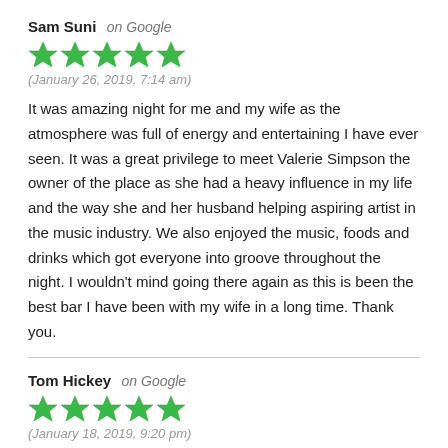Sam Suni on Google
[Figure (other): 5 green stars rating]
(January 26, 2019, 7:14 am)
It was amazing night for me and my wife as the atmosphere was full of energy and entertaining I have ever seen. It was a great privilege to meet Valerie Simpson the owner of the place as she had a heavy influence in my life and the way she and her husband helping aspiring artist in the music industry. We also enjoyed the music, foods and drinks which got everyone into groove throughout the night. I wouldn't mind going there again as this is been the best bar I have been with my wife in a long time. Thank you.
Tom Hickey on Google
[Figure (other): 5 green stars rating]
(January 18, 2019, 9:20 pm)